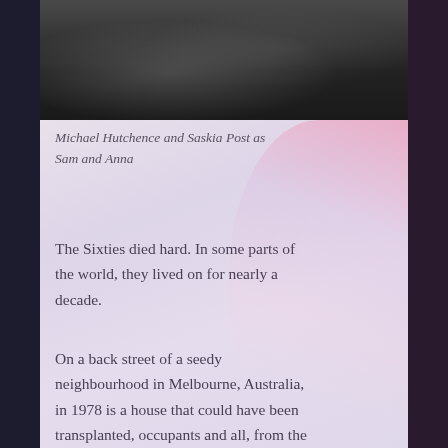[Figure (photo): Black and white photograph of Michael Hutchence and Saskia Post as Sam and Anna, shown from approximately chest/shoulder level]
Michael Hutchence and Saskia Post as Sam and Anna
The Sixties died hard. In some parts of the world, they lived on for nearly a decade.
On a back street of a seedy neighbourhood in Melbourne, Australia, in 1978 is a house that could have been transplanted, occupants and all, from the Haight-Ashbury of 1967. The music is 80’s instead of 60’s, but everything